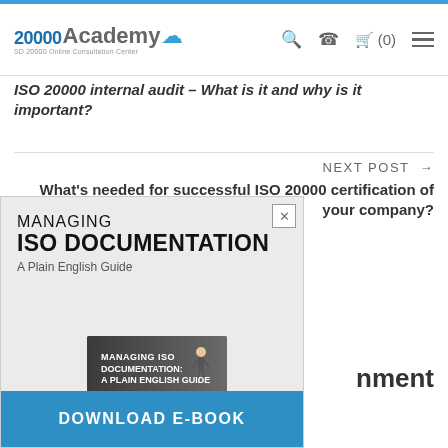[Figure (logo): 20000Academy logo with cloud icon and tagline 'SD 20000 Online Consultation Center']
🔍 📞 🛒 (0) ☰
ISO 20000 internal audit – What is it and why is it important?
NEXT POST →
What's needed for successful ISO 20000 certification of your company?
[Figure (screenshot): Modal popup for 'Managing ISO Documentation: A Plain English Guide' e-book with book cover image and DOWNLOAD E-BOOK button]
nment